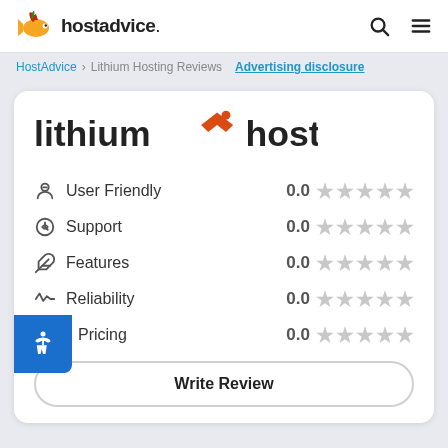hostadvice.
HostAdvice > Lithium Hosting Reviews  Advertising disclosure
[Figure (logo): Lithium Hosting logo — text 'lithium hosting' with orange arrow/chevron icon between the words]
User Friendly  0.0  (5 empty stars)
Support  0.0  (5 empty stars)
Features  0.0  (5 empty stars)
Reliability  0.0  (5 empty stars)
Pricing  0.0  (5 empty stars)
Write Review